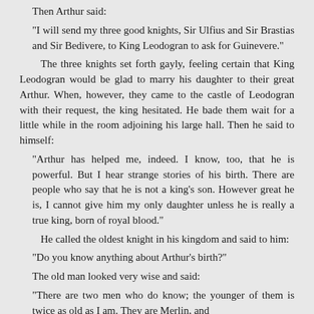Then Arthur said:
"I will send my three good knights, Sir Ulfius and Sir Brastias and Sir Bedivere, to King Leodogran to ask for Guinevere."
The three knights set forth gayly, feeling certain that King Leodogran would be glad to marry his daughter to their great Arthur. When, however, they came to the castle of Leodogran with their request, the king hesitated. He bade them wait for a little while in the room adjoining his large hall. Then he said to himself:
"Arthur has helped me, indeed. I know, too, that he is powerful. But I hear strange stories of his birth. There are people who say that he is not a king's son. However great he is, I cannot give him my only daughter unless he is really a true king, born of royal blood."
He called the oldest knight in his kingdom and said to him:
"Do you know anything about Arthur's birth?"
The old man looked very wise and said:
"There are two men who do know; the younger of them is twice as old as I am. They are Merlin, and